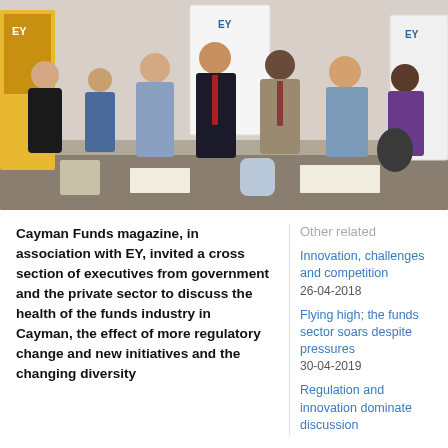[Figure (photo): Group of business professionals networking at an EY-sponsored event, standing around conference tables in a meeting room with EY branded banners in the background.]
Cayman Funds magazine, in association with EY, invited a cross section of executives from government and the private sector to discuss the health of the funds industry in Cayman, the effect of more regulatory change and new initiatives and the changing diversity
Other related
Innovation, challenges and competition
26-04-2018
Flying high; the funds sector soars despite pressures
30-04-2019
Regulation and innovation dominate discussion